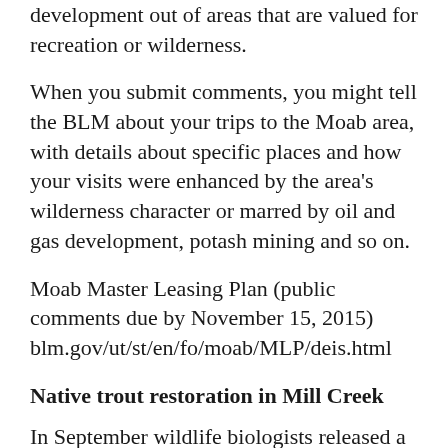development out of areas that are valued for recreation or wilderness.
When you submit comments, you might tell the BLM about your trips to the Moab area, with details about specific places and how your visits were enhanced by the area’s wilderness character or marred by oil and gas development, potash mining and so on.
Moab Master Leasing Plan (public comments due by November 15, 2015) blm.gov/ut/st/en/fo/moab/MLP/deis.html
Native trout restoration in Mill Creek
In September wildlife biologists released a “piscicide” (fish killer) called rotenone into Mill Creek near Elbow Fork in order to remove non-native trout. This month the Utah Division of